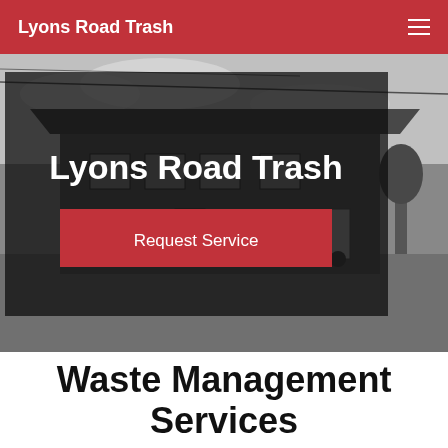Lyons Road Trash
[Figure (photo): Black and white photograph of a commercial building with vehicles parked outside, power lines visible. A dark semi-transparent overlay box covers most of the image containing a hero title and call-to-action button.]
Lyons Road Trash
Request Service
Waste Management Services